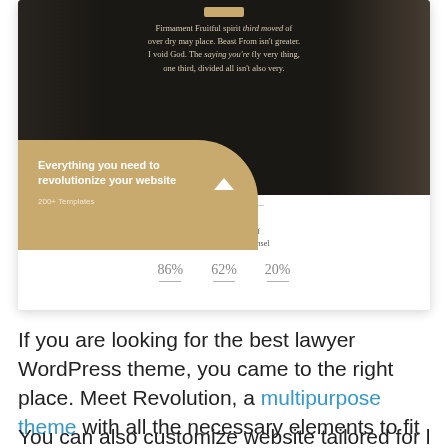[Figure (screenshot): Screenshot of a lawyer/legal WordPress theme demo showing a dark hero section with a classical statue image, overlay text 'Firmament Fruitful spirit third moved of over dry may place...', a tan/gold card in the lower-left with text 'Everything you need to revolutionize your website / 200+ Templates', and a white lower area with 'A Leading Provider of Cross Border Legal Counsel' and statistics 86%, 62%, 20%.]
If you are looking for the best lawyer WordPress theme, you came to the right place. Meet Revolution, a multipurpose theme with all the necessary elements to fit your plans and requirements.
You can also customize website tailored for lawyers...